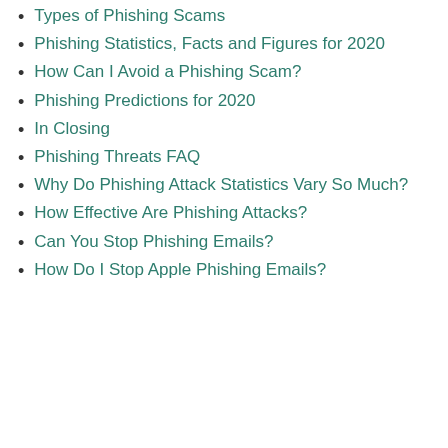Types of Phishing Scams
Phishing Statistics, Facts and Figures for 2020
How Can I Avoid a Phishing Scam?
Phishing Predictions for 2020
In Closing
Phishing Threats FAQ
Why Do Phishing Attack Statistics Vary So Much?
How Effective Are Phishing Attacks?
Can You Stop Phishing Emails?
How Do I Stop Apple Phishing Emails?